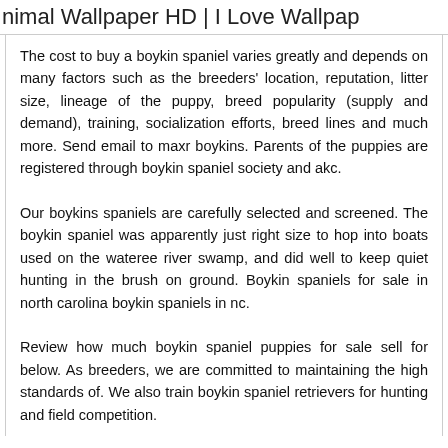nimal Wallpaper HD | I Love Wallpap
The cost to buy a boykin spaniel varies greatly and depends on many factors such as the breeders' location, reputation, litter size, lineage of the puppy, breed popularity (supply and demand), training, socialization efforts, breed lines and much more. Send email to maxr boykins. Parents of the puppies are registered through boykin spaniel society and akc.
Our boykins spaniels are carefully selected and screened. The boykin spaniel was apparently just right size to hop into boats used on the wateree river swamp, and did well to keep quiet hunting in the brush on ground. Boykin spaniels for sale in north carolina boykin spaniels in nc.
Review how much boykin spaniel puppies for sale sell for below. As breeders, we are committed to maintaining the high standards of. We also train boykin spaniel retrievers for hunting and field competition.